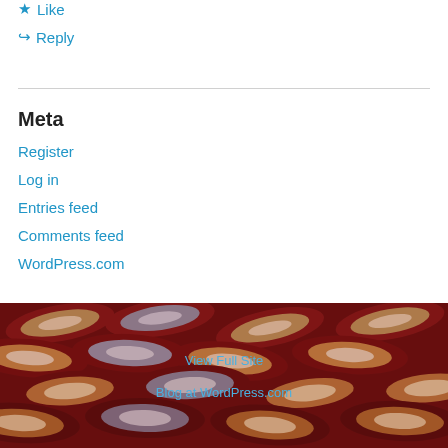★ Like
↪ Reply
Meta
Register
Log in
Entries feed
Comments feed
WordPress.com
[Figure (illustration): Decorative marbled paper background in dark red, orange, cream, and grey swirling feather-like pattern]
View Full Site
Blog at WordPress.com